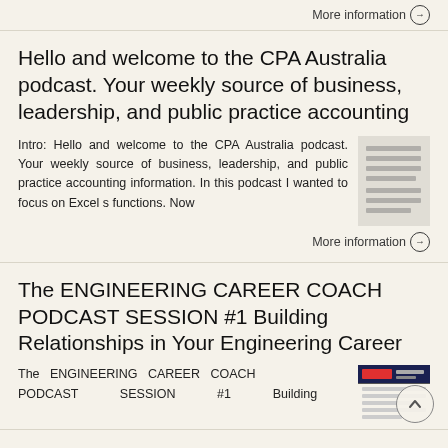More information →
Hello and welcome to the CPA Australia podcast. Your weekly source of business, leadership, and public practice accounting
Intro: Hello and welcome to the CPA Australia podcast. Your weekly source of business, leadership, and public practice accounting information. In this podcast I wanted to focus on Excel s functions. Now
[Figure (illustration): Thumbnail image of a document page with text lines]
More information →
The ENGINEERING CAREER COACH PODCAST SESSION #1 Building Relationships in Your Engineering Career
The ENGINEERING CAREER COACH PODCAST SESSION #1 Building
[Figure (illustration): Thumbnail image with dark blue/navy header and text content below]